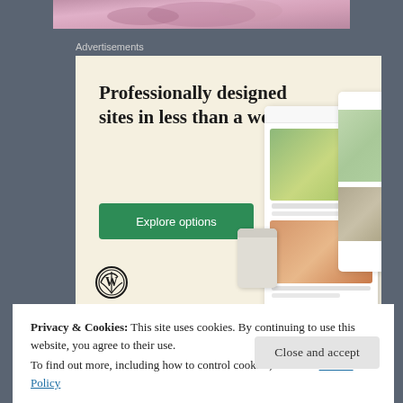[Figure (photo): Partial image at top of page showing a purple/pink colored food or dessert item on gray background]
Advertisements
[Figure (screenshot): WordPress advertisement banner with cream/beige background. Text reads 'Professionally designed sites in less than a week' with a green 'Explore options' button and WordPress logo. Mock UI elements showing website mockups with food photography on the right side.]
Privacy & Cookies: This site uses cookies. By continuing to use this website, you agree to their use.
To find out more, including how to control cookies, see here: Cookie Policy
Close and accept
[Figure (photo): Partial image at bottom showing colorful text 'HUSBANDS' in bold lettering with illustrated characters]